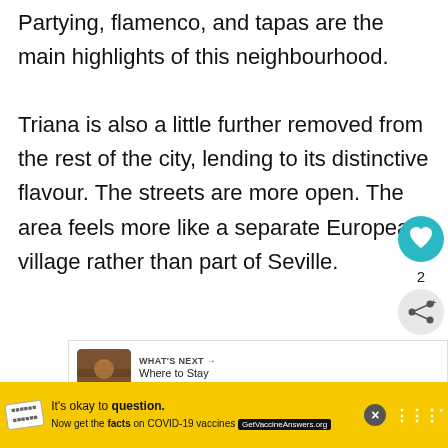Partying, flamenco, and tapas are the main highlights of this neighbourhood.
Triana is also a little further removed from the rest of the city, lending to its distinctive flavour. The streets are more open. The area feels more like a separate European village rather than part of Seville.
[Figure (infographic): Heart/like button (teal circle with heart icon) and share button, with count of 2]
[Figure (infographic): What's Next panel: thumbnail image with text 'WHAT'S NEXT → Where to Stay in Valencia,...']
[Figure (infographic): Advertisement banner: yellow background with 'It's okay to question. Now get the facts on COVID-19 vaccines GetVaccineAnswers.org']